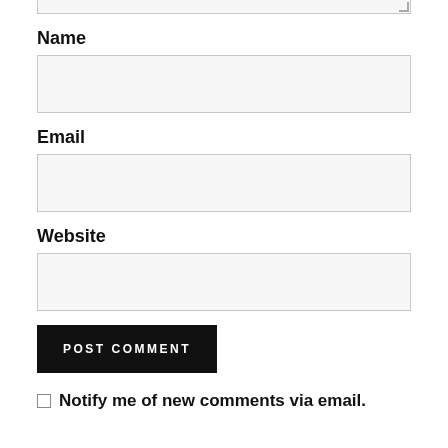[Figure (screenshot): Top edge of a textarea input box with resize handle in bottom-right corner]
Name
[Figure (screenshot): Empty text input box for Name field with light gray background and border]
Email
[Figure (screenshot): Empty text input box for Email field with light gray background and border]
Website
[Figure (screenshot): Empty text input box for Website field with light gray background and border]
[Figure (screenshot): POST COMMENT button, black background with white uppercase text]
Notify me of new comments via email.